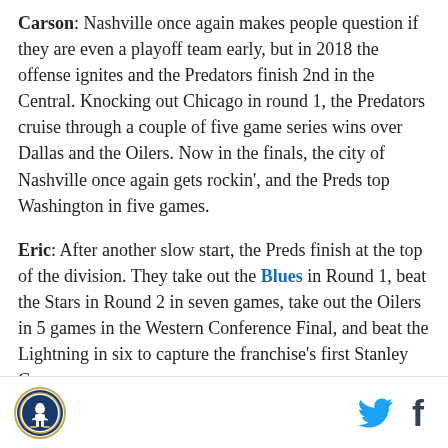Carson: Nashville once again makes people question if they are even a playoff team early, but in 2018 the offense ignites and the Predators finish 2nd in the Central. Knocking out Chicago in round 1, the Predators cruise through a couple of five game series wins over Dallas and the Oilers. Now in the finals, the city of Nashville once again gets rockin', and the Preds top Washington in five games.
Eric: After another slow start, the Preds finish at the top of the division. They take out the Blues in Round 1, beat the Stars in Round 2 in seven games, take out the Oilers in 5 games in the Western Conference Final, and beat the Lightning in six to capture the franchise's first Stanley Cup.
[logo] [twitter] [facebook]